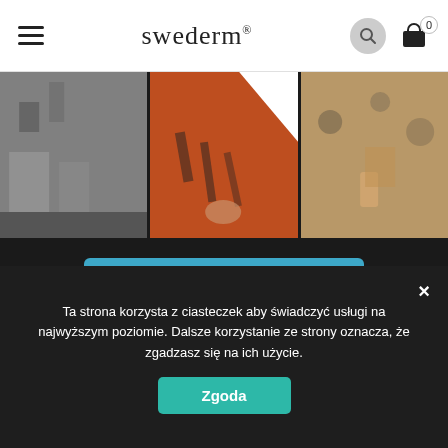swederm®
[Figure (photo): Three Instagram-style photos in a horizontal strip: a living room interior, a person wearing a tiger-print top touching their hair, and a woman holding a glass/phone.]
Follow on Instagram
LIKE US ON FACEBOOK:
Ta strona korzysta z ciasteczek aby świadczyć usługi na najwyższym poziomie. Dalsze korzystanie ze strony oznacza, że zgadzasz się na ich użycie.
Zgoda